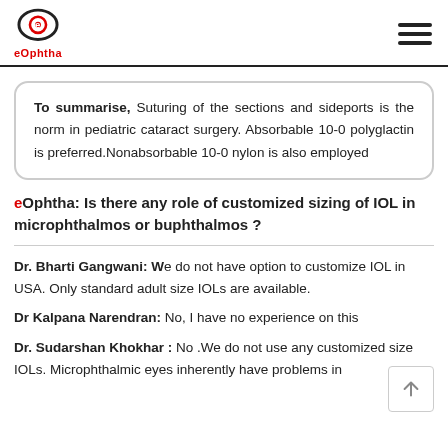eOphtha
To summarise, Suturing of the sections and sideports is the norm in pediatric cataract surgery. Absorbable 10-0 polyglactin is preferred.Nonabsorbable 10-0 nylon is also employed
eOphtha: Is there any role of customized sizing of IOL in microphthalmos or buphthalmos ?
Dr. Bharti Gangwani: We do not have option to customize IOL in USA. Only standard adult size IOLs are available.
Dr Kalpana Narendran: No, I have no experience on this
Dr. Sudarshan Khokhar : No .We do not use any customized size IOLs. Microphthalmic eyes inherently have problems in